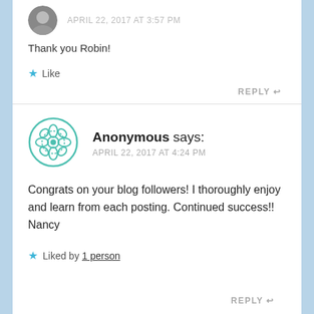Thank you Robin!
Like
REPLY
Anonymous says: APRIL 22, 2017 AT 4:24 PM
Congrats on your blog followers! I thoroughly enjoy and learn from each posting. Continued success!! Nancy
Liked by 1 person
REPLY